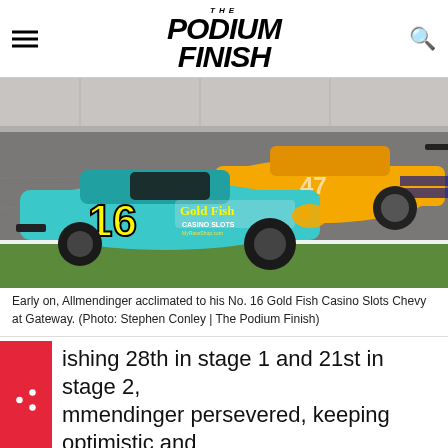THE PODIUM FINISH
[Figure (photo): Two NASCAR race cars on a track — a teal/blue No. 16 Gold Fish Casino Slots Chevy in the foreground and a yellow/orange car behind it at Gateway.]
Early on, Allmendinger acclimated to his No. 16 Gold Fish Casino Slots Chevy at Gateway. (Photo: Stephen Conley | The Podium Finish)
ishing 28th in stage 1 and 21st in stage 2, mmendinger persevered, keeping optimistic and